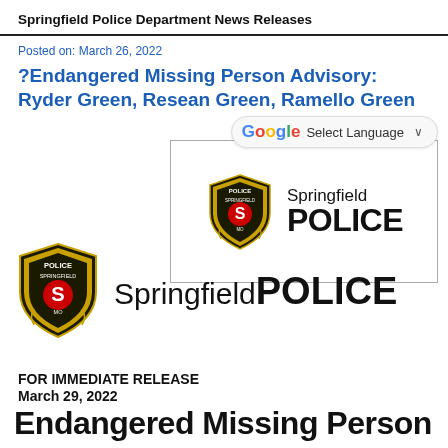Springfield Police Department News Releases
Posted on: March 26, 2022
?Endangered Missing Person Advisory: Ryder Green, Resean Green, Ramello Green
[Figure (logo): Springfield Police Department logo inside a bordered box with 'Springfield POLICE' text]
[Figure (logo): Springfield Police Department main logo with shield and 'SpringfieldPOLICE' text]
FOR IMMEDIATE RELEASE
March 29, 2022
Endangered Missing Person